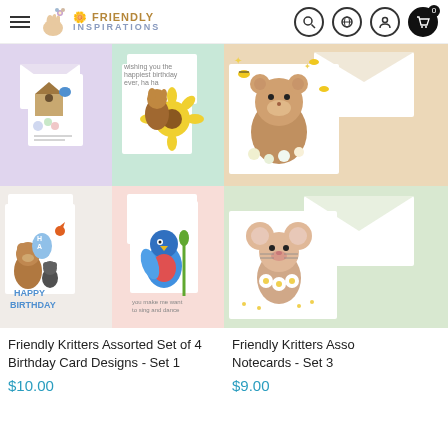Friendly Inspirations – navigation bar with hamburger menu, logo, search, language, account, and cart icons
[Figure (photo): Friendly Kritters Assorted Set of 4 Birthday Card Designs - Set 1: 2x2 grid of greeting card images showing animated animal characters on colorful backgrounds]
Friendly Kritters Assorted Set of 4 Birthday Card Designs - Set 1
$10.00
[Figure (photo): Friendly Kritters Assorted Notecards - Set 3: partial view of 2 greeting card images showing bear and mouse characters]
Friendly Kritters Asso Notecards - Set 3
$9.00